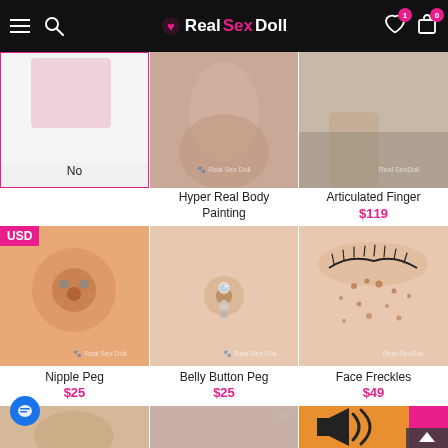RealSexDoll
[Figure (photo): Product option image - No option (white/blank)]
No
[Figure (photo): Hyper Real Body Painting product image]
Hyper Real Body Painting
[Figure (photo): Articulated Finger product image]
Articulated Finger
$119
[Figure (photo): Nipple Peg product image - close up]
Nipple Peg
$25
[Figure (photo): Belly Button Peg product image - belly button piercing]
Belly Button Peg
$25
[Figure (photo): Face Freckles product image - close up of freckled skin]
Face Freckles
$49
[Figure (photo): Bottom row left product image]
[Figure (photo): Bottom row center product image]
[Figure (photo): Bottom row right product image - sound icon on orange/pink background]